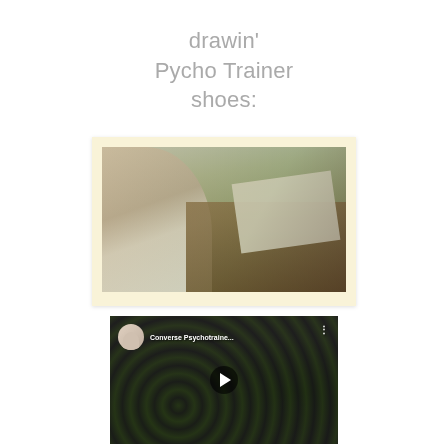drawin'
Pycho Trainer
shoes:
[Figure (photo): A young man with short hair wearing a white t-shirt sits at a wooden drawing desk covered with papers and drawings. He looks at the camera. The photo has a vintage warm tone with a cream-colored border, resembling a polaroid or printed photograph.]
[Figure (screenshot): A YouTube video thumbnail showing 'Converse Psychotraine...' with a play button in the center. The thumbnail shows black and white swirling monster/creature artwork with dark green accents. A small circular avatar of a smiling person with glasses appears in the top left along with the video title. Three dots menu icon appears top right.]